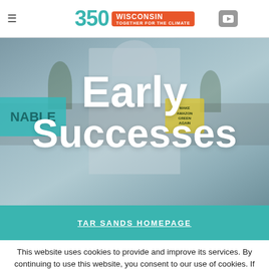350 Wisconsin — Together for the Climate
[Figure (photo): Outdoor protest or climate march in front of a large domed capitol building. Signs visible including 'NABLE' (Sustainable), and 'MAKE AMAZON GREEN AGAIN'. Large crowd of people.]
Early Successes
TAR SANDS HOMEPAGE
This website uses cookies to provide and improve its services. By continuing to use this website, you consent to our use of cookies. If you do not consent, please view our Cookie Policy for more information.
DISMISS